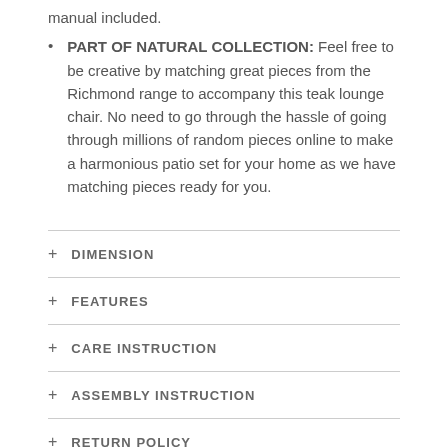manual included.
PART OF NATURAL COLLECTION: Feel free to be creative by matching great pieces from the Richmond range to accompany this teak lounge chair. No need to go through the hassle of going through millions of random pieces online to make a harmonious patio set for your home as we have matching pieces ready for you.
+ DIMENSION
+ FEATURES
+ CARE INSTRUCTION
+ ASSEMBLY INSTRUCTION
+ RETURN POLICY